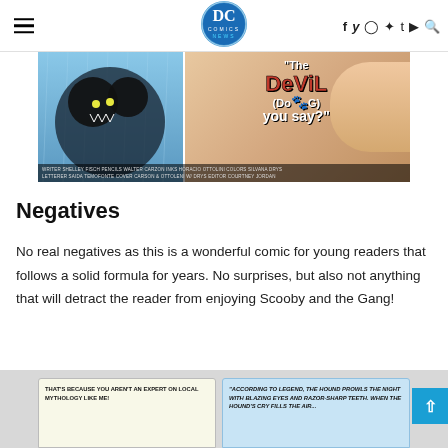DC Comics News — navigation bar with hamburger menu, DC Comics News logo, and social icons (f, y, Instagram, Pinterest, t, YouTube, search)
[Figure (illustration): Comic book cover panel showing 'The Devil (Dog) You Say?' with a werewolf/monster on a rainy night and credits for writer Shelley Fisch, pencils Walter Carzon, inks Horacio Ottolini, colors Silvana Drys, letterer Saida Temofonte, cover Carson & Ottoleni, editor Courtney Jordan]
Negatives
No real negatives as this is a wonderful comic for young readers that follows a solid formula for years.  No surprises, but also not anything that will detract the reader from enjoying Scooby and the Gang!
[Figure (illustration): Bottom comic panel showing two speech bubbles: left panel 'That's because you aren't an expert on local mythology like me!' and right panel 'According to legend, the hound prowls the night with blazing eyes and razor-sharp teeth. When the hound's cry fills the air...']